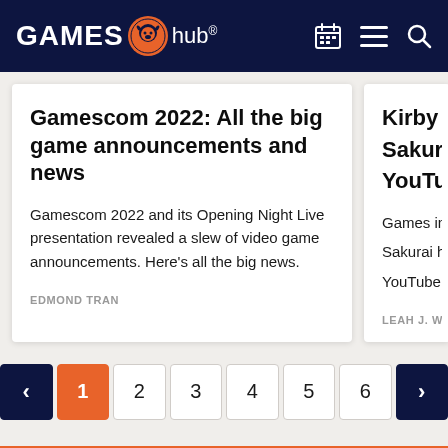GAMES hub
Gamescom 2022: All the big game announcements and news
Gamescom 2022 and its Opening Night Live presentation revealed a slew of video game announcements. Here's all the big news.
EDMOND TRAN
Kirby crea... Sakurai la... YouTube c...
Games indus... Sakurai has la... YouTube chan...
LEAH J. WILLIA...
< 1 2 3 4 5 6 >